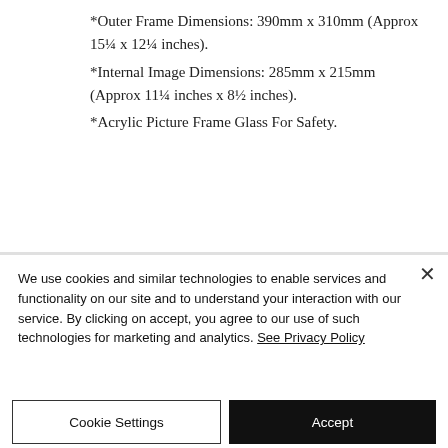*Outer Frame Dimensions: 390mm x 310mm (Approx 15¼ x 12¼ inches).
*Internal Image Dimensions: 285mm x 215mm (Approx 11¼ inches x 8½ inches).
*Acrylic Picture Frame Glass For Safety.
We use cookies and similar technologies to enable services and functionality on our site and to understand your interaction with our service. By clicking on accept, you agree to our use of such technologies for marketing and analytics. See Privacy Policy